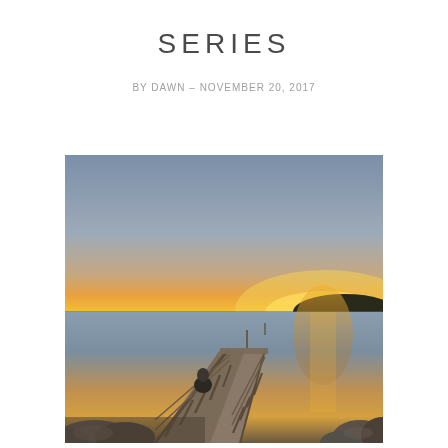SERIES
BY DAWN – NOVEMBER 20, 2017
[Figure (photo): A person sitting on a wooden dock/pier extending over a calm lake at sunset, with warm orange glow on the horizon, silhouetted treeline on the right, and rocks visible in the foreground. The sky transitions from deep blue-grey at the top to warm orange and yellow near the horizon.]